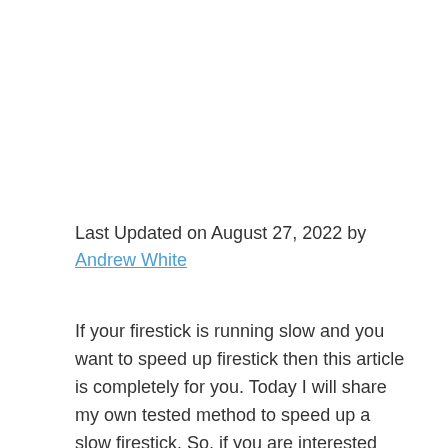Last Updated on August 27, 2022 by Andrew White
If your firestick is running slow and you want to speed up firestick then this article is completely for you. Today I will share my own tested method to speed up a slow firestick. So, if you are interested keep reading this article till the end.